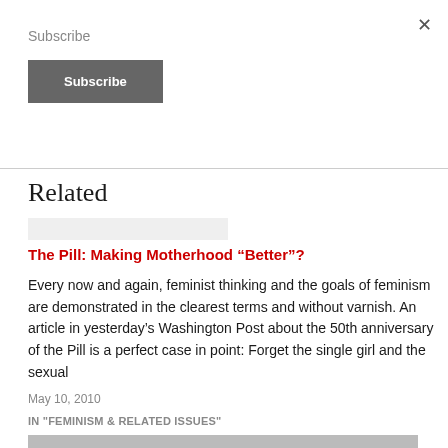Subscribe
Subscribe
×
Related
The Pill: Making Motherhood “Better”?
Every now and again, feminist thinking and the goals of feminism are demonstrated in the clearest terms and without varnish. An article in yesterday’s Washington Post about the 50th anniversary of the Pill is a perfect case in point: Forget the single girl and the sexual
May 10, 2010
IN "FEMINISM & RELATED ISSUES"